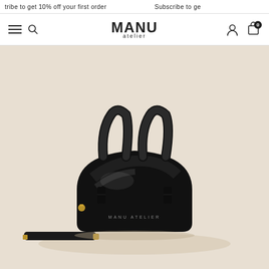Subscribe to get 10% off your first order   Subscribe to ge
MANU atelier - navigation bar with hamburger menu, search, account, and cart icons
[Figure (photo): Black patent leather dome-shaped handbag (MANU ATELIER branded) with two top handles and a detached black shoulder/crossbody strap with gold hardware, photographed on a warm beige background.]